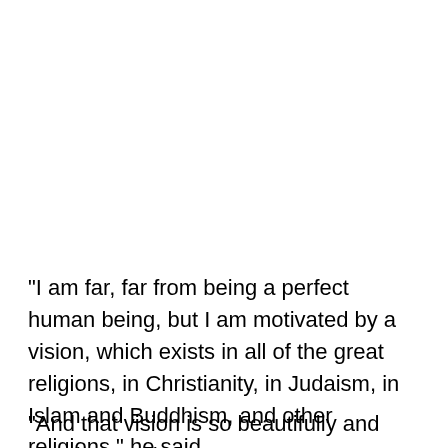"I am far, far from being a perfect human being, but I am motivated by a vision, which exists in all of the great religions, in Christianity, in Judaism, in Islam and Buddhism, and other religions," he said.
"And that vision is so beautifully and clearly stated in